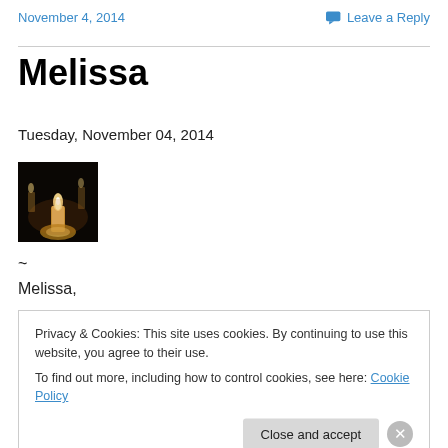November 4, 2014    Leave a Reply
Melissa
Tuesday, November 04, 2014
[Figure (photo): Candle flame glowing in the dark with other candles in the background]
~
Melissa,
Privacy & Cookies: This site uses cookies. By continuing to use this website, you agree to their use. To find out more, including how to control cookies, see here: Cookie Policy